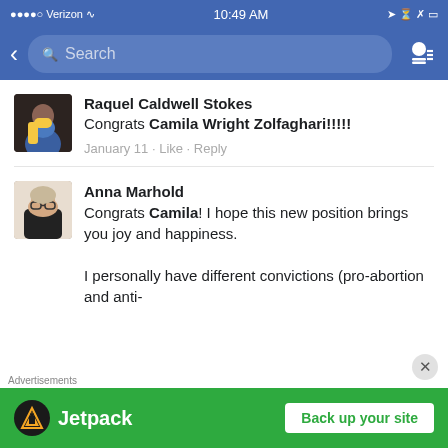[Figure (screenshot): iOS status bar showing Verizon carrier, WiFi signal, 10:49 AM time, location, alarm, Bluetooth, and battery icons on blue background]
[Figure (screenshot): Facebook navigation bar with back arrow, search box, and people icon on blue background]
Raquel Caldwell Stokes
Congrats Camila Wright Zolfaghari!!!!!
January 11 · Like · Reply
Anna Marhold
Congrats Camila! I hope this new position brings you joy and happiness.

I personally have different convictions (pro-abortion and anti-
Advertisements
[Figure (screenshot): Jetpack advertisement banner with green background showing Jetpack logo and 'Back up your site' call-to-action button]